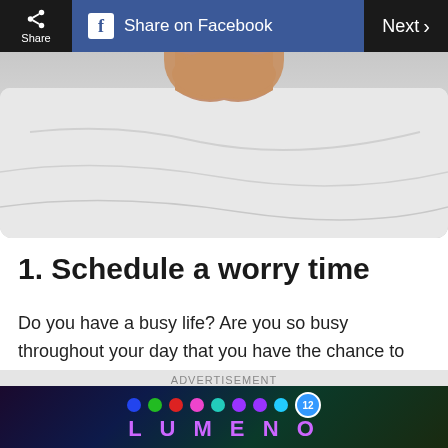Share | Share on Facebook | Next >
[Figure (photo): Close-up photo of white bed sheets/pillow with a hand visible at the top]
1. Schedule a worry time
Do you have a busy life? Are you so busy throughout your day that you have the chance to think about what is happening in your life only when you get into bed, a place that is quiet, dark and free of distractions?
[Figure (screenshot): Advertisement banner for LUMENO game with colorful dots/bubbles on dark background]